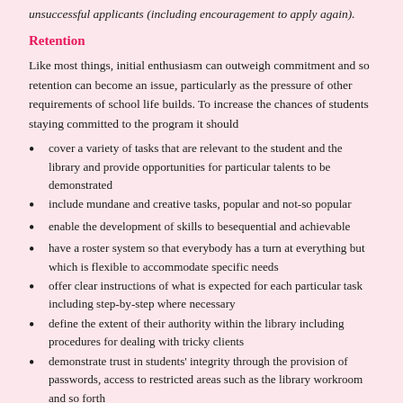unsuccessful applicants (including encouragement to apply again).
Retention
Like most things, initial enthusiasm can outweigh commitment and so retention can become an issue, particularly as the pressure of other requirements of school life builds.  To increase the chances of students staying committed to the program it should
cover a variety of tasks that are relevant to the student and the library and provide opportunities for particular talents to be demonstrated
include mundane and creative tasks, popular and not-so popular
enable the development of skills to besequential and achievable
have a roster system so that everybody has a turn at everything but which is flexible to accommodate specific needs
offer clear instructions of what is expected for each particular task including step-by-step where necessary
define the extent of their authority within the library including procedures for dealing with tricky clients
demonstrate trust in students' integrity through the provision of passwords, access to restricted areas such as the library workroom and so forth